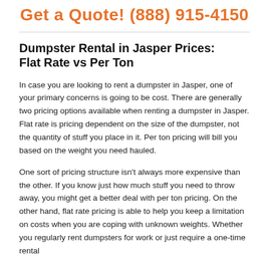Get a Quote! (888) 915-4150
Dumpster Rental in Jasper Prices: Flat Rate vs Per Ton
In case you are looking to rent a dumpster in Jasper, one of your primary concerns is going to be cost. There are generally two pricing options available when renting a dumpster in Jasper. Flat rate is pricing dependent on the size of the dumpster, not the quantity of stuff you place in it. Per ton pricing will bill you based on the weight you need hauled.
One sort of pricing structure isn't always more expensive than the other. If you know just how much stuff you need to throw away, you might get a better deal with per ton pricing. On the other hand, flat rate pricing is able to help you keep a limitation on costs when you are coping with unknown weights. Whether you regularly rent dumpsters for work or just require a one-time rental